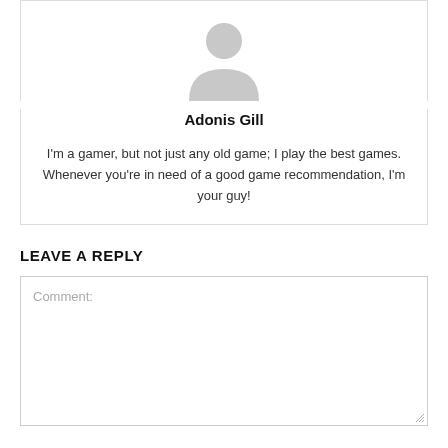[Figure (illustration): Gray default avatar silhouette placeholder image]
Adonis Gill
I'm a gamer, but not just any old game; I play the best games. Whenever you're in need of a good game recommendation, I'm your guy!
LEAVE A REPLY
Comment: